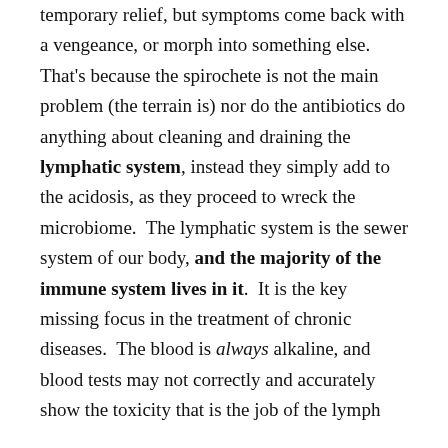temporary relief, but symptoms come back with a vengeance, or morph into something else.  That's because the spirochete is not the main problem (the terrain is) nor do the antibiotics do anything about cleaning and draining the lymphatic system, instead they simply add to the acidosis, as they proceed to wreck the microbiome.  The lymphatic system is the sewer system of our body, and the majority of the immune system lives in it.  It is the key missing focus in the treatment of chronic diseases.  The blood is always alkaline, and blood tests may not correctly and accurately show the toxicity that is the job of the lymph